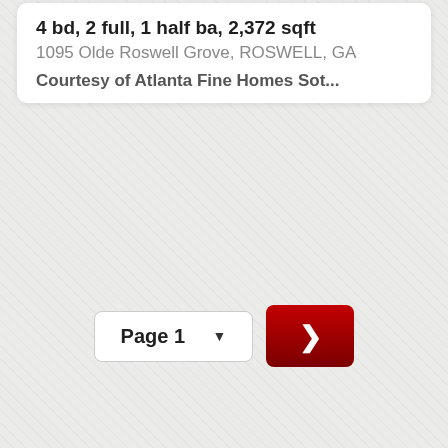4 bd, 2 full, 1 half ba, 2,372 sqft
1095 Olde Roswell Grove, ROSWELL, GA
Courtesy of Atlanta Fine Homes Sot...
Page 1
Listings identified with the FMLS IDX logo come from FMLS and are held by brokerage firms other than the owner of this website. The listing brokerage is
Additional Cities
Atlanta